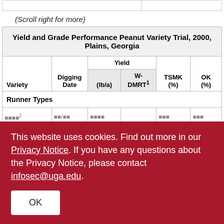|  |  |
(Scroll right for more)
| Variety | Digging Date | (lb/a) | W-DMRT¹ | TSMK (%) | OK (%) |
| --- | --- | --- | --- | --- | --- |
| Runner Types |  |  |  |  |  |
| [partial row] |  |  |  |  |  |
This website uses cookies. Find out more in our Privacy Notice. If you have any questions about the Privacy Notice, please contact infosec@uga.edu.